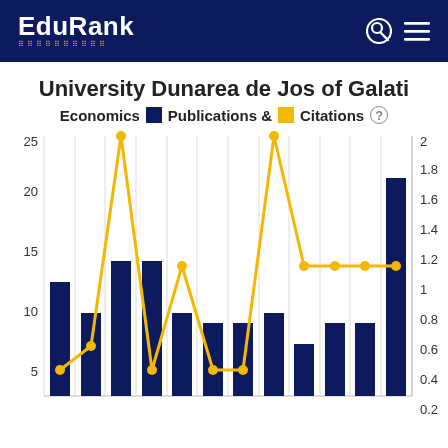EduRank
University Dunarea de Jos of Galati
Economics  Publications &  Citations
[Figure (grouped-bar-chart): University Dunarea de Jos of Galati Economics Publications & Citations]